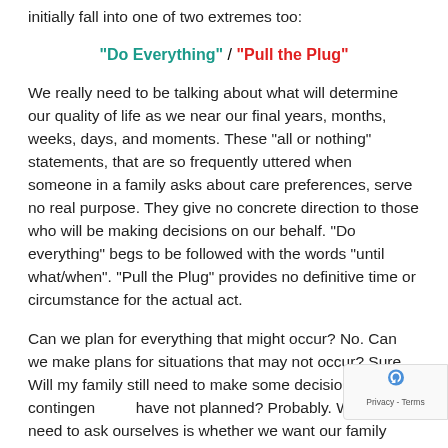initially fall into one of two extremes too:
“Do Everything” / “Pull the Plug”
We really need to be talking about what will determine our quality of life as we near our final years, months, weeks, days, and moments.  These “all or nothing” statements, that are so frequently uttered when someone in a family asks about care preferences, serve no real purpose.  They give no concrete direction to those who will be making decisions on our behalf.  “Do everything” begs to be followed with the words “until what/when”.  “Pull the Plug” provides no definitive time or circumstance for the actual act.
Can we plan for everything that might occur?  No.  Can we make plans for situations that may not occur?  Sure. Will my family still need to make some decisions for contingencies I have not planned?  Probably.   What we need to ask ourselves is whether we want our family making decisions